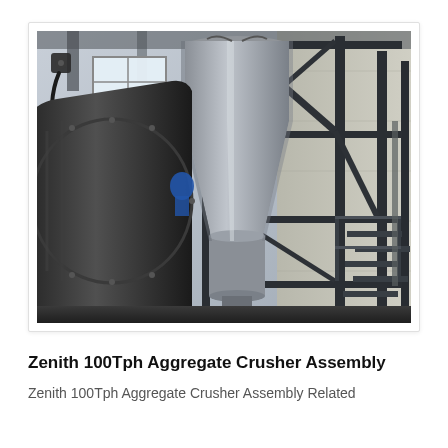[Figure (photo): Industrial interior photograph showing large aggregate crusher machinery components including a large cylindrical dark metal drum on the left, a central conical/hopper shaped metallic vessel (likely a cone crusher or cyclone separator), and a surrounding steel structural framework with stairs and platforms. The setting is inside a large industrial building with concrete walls and natural light from windows. A worker in blue is partially visible near the machinery.]
Zenith 100Tph Aggregate Crusher Assembly
Zenith 100Tph Aggregate Crusher Assembly Related